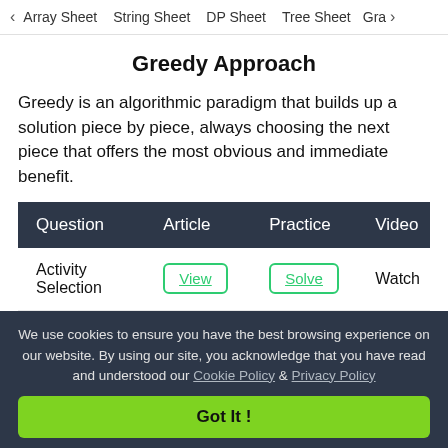< Array Sheet   String Sheet   DP Sheet   Tree Sheet   Gra>
Greedy Approach
Greedy is an algorithmic paradigm that builds up a solution piece by piece, always choosing the next piece that offers the most obvious and immediate benefit.
| Question | Article | Practice | Video |
| --- | --- | --- | --- |
| Activity Selection | View | Solve | Watch |
We use cookies to ensure you have the best browsing experience on our website. By using our site, you acknowledge that you have read and understood our Cookie Policy & Privacy Policy
Got It !